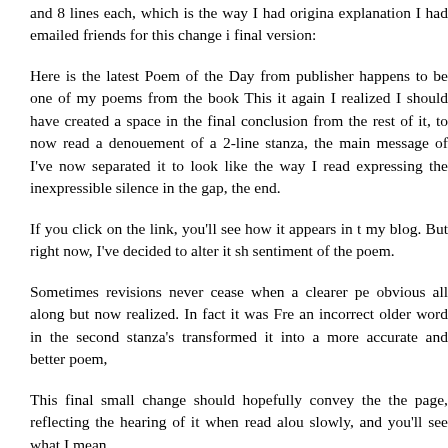and 8 lines each, which is the way I had origina explanation I had emailed friends for this change i final version:
Here is the latest Poem of the Day from publisher happens to be one of my poems from the book This it again I realized I should have created a space in the final conclusion from the rest of it, to now read a denouement of a 2-line stanza, the main message of I've now separated it to look like the way I read expressing the inexpressible silence in the gap, the end.
If you click on the link, you'll see how it appears in t my blog. But right now, I've decided to alter it sh sentiment of the poem.
Sometimes revisions never cease when a clearer pe obvious all along but now realized. In fact it was Fre an incorrect older word in the second stanza's transformed it into a more accurate and better poem,
This final small change should hopefully convey the the page, reflecting the hearing of it when read alou slowly, and you'll see what I mean.
Freddy just responded in agreement, saying the es across like it has been thus far well enough, but t